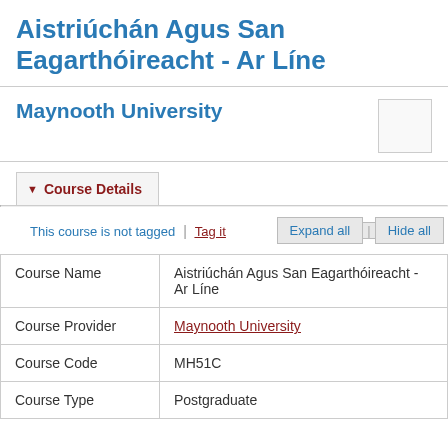Aistriúchán Agus San Eagarthóireacht - Ar Líne
Maynooth University
▼ Course Details
This course is not tagged | Tag it
Expand all | Hide all
|  |  |
| --- | --- |
| Course Name | Aistriúchán Agus San Eagarthóireacht - Ar Líne |
| Course Provider | Maynooth University |
| Course Code | MH51C |
| Course Type | Postgraduate |